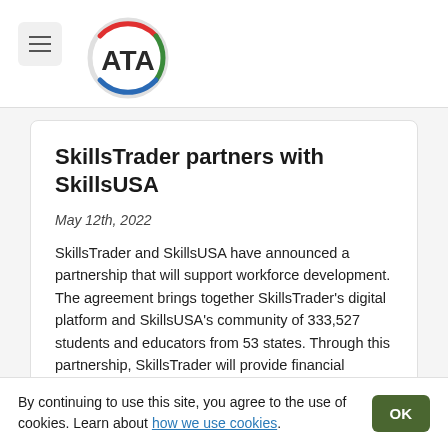ATA logo and navigation
SkillsTrader partners with SkillsUSA
May 12th, 2022
SkillsTrader and SkillsUSA have announced a partnership that will support workforce development. The agreement brings together SkillsTrader's digital platform and SkillsUSA's community of 333,527 students and educators from 53 states. Through this partnership, SkillsTrader will provide financial support for
By continuing to use this site, you agree to the use of cookies. Learn about how we use cookies.